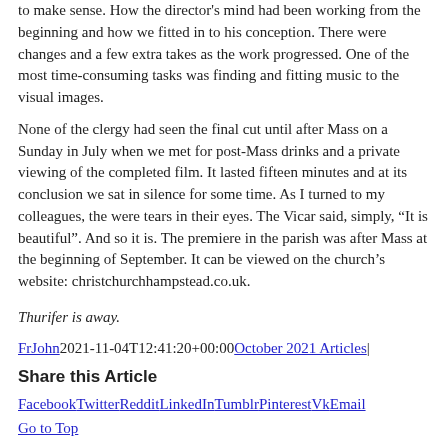to make sense. How the director's mind had been working from the beginning and how we fitted in to his conception. There were changes and a few extra takes as the work progressed. One of the most time-consuming tasks was finding and fitting music to the visual images.
None of the clergy had seen the final cut until after Mass on a Sunday in July when we met for post-Mass drinks and a private viewing of the completed film. It lasted fifteen minutes and at its conclusion we sat in silence for some time. As I turned to my colleagues, the were tears in their eyes. The Vicar said, simply, “It is beautiful”. And so it is. The premiere in the parish was after Mass at the beginning of September. It can be viewed on the church’s website: christchurchhampstead.co.uk.
Thurifer is away.
FrJohn2021-11-04T12:41:20+00:00October 2021 Articles|
Share this Article
FacebookTwitterRedditLinkedInTumblrPinterestVkEmail
Go to Top